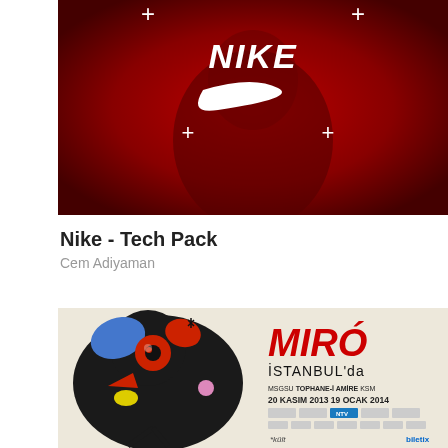[Figure (photo): Nike Tech Pack advertisement image with dark red background showing a person wearing Nike apparel, Nike logo and swoosh centered at top, plus signs visible]
Nike - Tech Pack
Cem Adiyaman
[Figure (photo): Miró Istanbul exhibition poster with colorful surrealist Miró artwork on left, text on right: MIRÓ İSTANBUL'da MSGSU TOPHANE-İ AMİRE KSM 20 KASIM 2013 19 OCAK 2014 with sponsor logos including NTV, *kült, biletix]